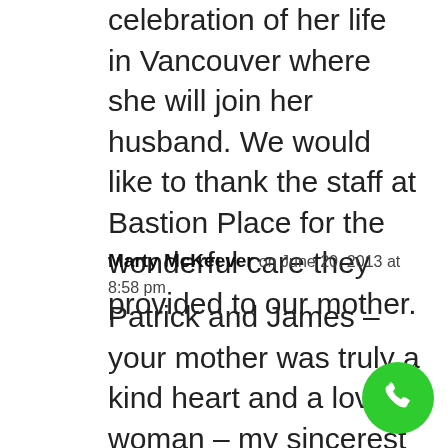celebration of her life in Vancouver where she will join her husband. We would like to thank the staff at Bastion Place for the wonderful care they provided to our mother.
Marty McKeever on June 20, 2013 at 8:58 pm
Patrick and James – your mother was truly a kind heart and a lovely woman – my sincerest sympathies to you both on your loss. May God find her and keep her and comfort you both in your time of need. My thoughts and prayers go out to you both.
[Figure (other): Green circular phone/call button in the bottom right corner]